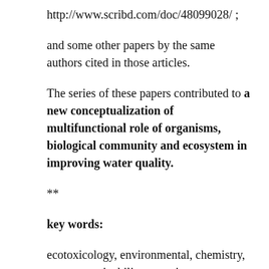http://www.scribd.com/doc/48099028/ ;
and some other papers by the same authors cited in those articles.
The series of these papers contributed to a new conceptualization of multifunctional role of organisms, biological community and ecosystem in improving water quality.
**
key words:
ecotoxicology, environmental, chemistry, water, sustainability; aquatic, ecosystems,